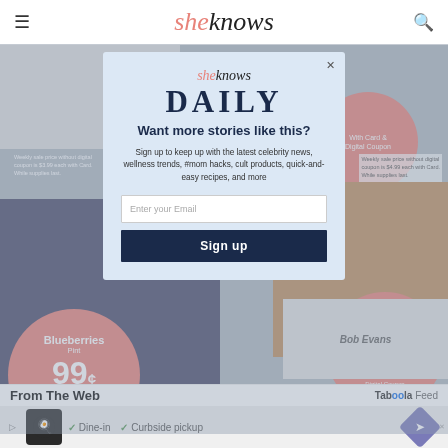sheknows
[Figure (screenshot): Grocery store advertisement background with blueberries image, cookies image, price circles showing $3.49/EA with Card & Digital Coupon, Blueberries 99¢/EA with Card & Digital Coupon, Fresh Baked Soft Top Cookies $3.49/EA with Card & Digital Coupon, Bob Evans product, and See More button]
[Figure (screenshot): SheKnows Daily email signup modal dialog with fields for email entry and Sign up button]
From The Web
[Figure (screenshot): Taboola Feed advertisement banner with restaurant icon, Dine-in and Curbside pickup options]